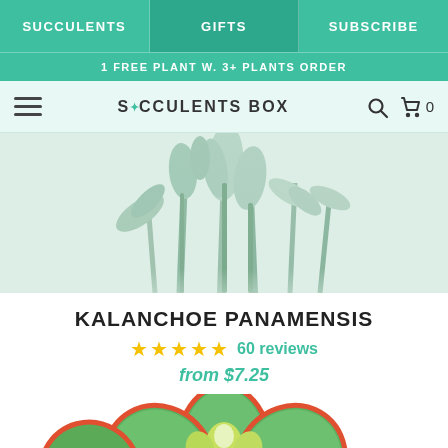SUCCULENTS | GIFTS | SUBSCRIBE
1 FREE PLANT W. 3+ PLANTS ORDER
SUCCULENTS BOX
[Figure (photo): Close-up photo of green succulent plants (Kalanchoe Panamensis) with elongated leaves against a light background]
KALANCHOE PANAMENSIS
★★★★★ 60 reviews
from $7.25
[Figure (photo): Close-up photo of a Kalanchoe succulent with rounded green leaves edged in red/orange]